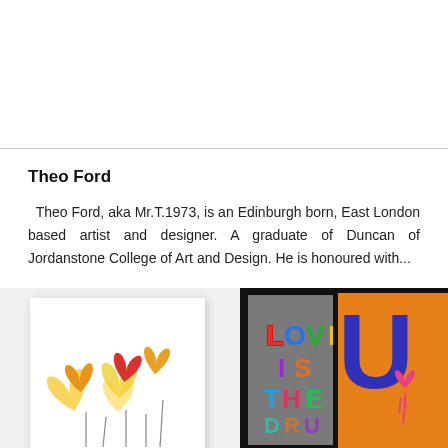Theo Ford
Theo Ford, aka Mr.T.1973, is an Edinburgh born, East London based artist and designer. A graduate of Duncan of Jordanstone College of Art and Design. He is honoured with...
[Figure (illustration): Framed artwork showing colorful heart-shaped balloons in yellow, orange, and red on white background]
[Figure (illustration): Framed artwork with gray background and bold colorful text reading 'LOVE IS THE' with more text cut off]
[Figure (illustration): Partially visible framed artwork with orange background showing large blue letter U shape and a pink/red heart with drips]